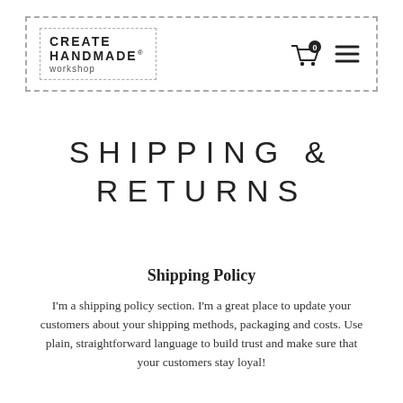CREATE HANDMADE® workshop — navigation header with cart icon and menu icon
SHIPPING & RETURNS
Shipping Policy
I'm a shipping policy section. I'm a great place to update your customers about your shipping methods, packaging and costs. Use plain, straightforward language to build trust and make sure that your customers stay loyal!